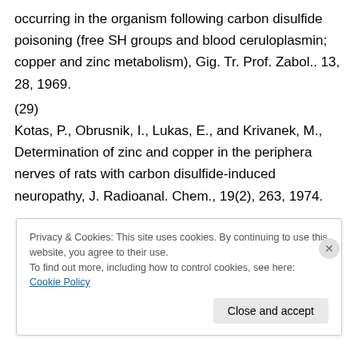occurring in the organism following carbon disulfide poisoning (free SH groups and blood ceruloplasmin; copper and zinc metabolism), Gig. Tr. Prof. Zabol.. 13, 28, 1969.
(29)
Kotas, P., Obrusnik, I., Lukas, E., and Krivanek, M., Determination of zinc and copper in the periphera nerves of rats with carbon disulfide-induced neuropathy, J. Radioanal. Chem., 19(2), 263, 1974.
Privacy & Cookies: This site uses cookies. By continuing to use this website, you agree to their use.
To find out more, including how to control cookies, see here: Cookie Policy